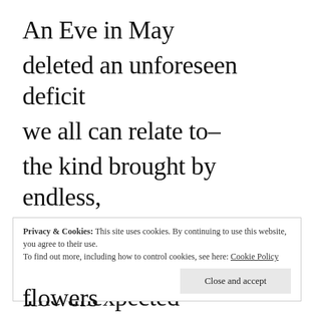An Eve in May
deleted an unforeseen deficit
we all can relate to–
the kind brought by endless,
stringed-together, mundane days.
The unexpected nourishment she
bore to me–wholistically–was more
Privacy & Cookies: This site uses cookies. By continuing to use this website, you agree to their use.
To find out more, including how to control cookies, see here: Cookie Policy
Close and accept
flowers